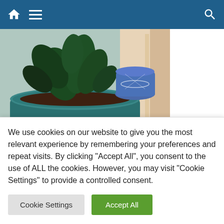Navigation bar with home icon, hamburger menu, and search icon
[Figure (photo): A gardenia plant in a decorative teal/blue ceramic pot on a windowsill, with other plants and a blue and white pot in the background]
How To Grow A Gardenia Step By Step
March 21, 2022   bluesate
1 thought on “How to Grow Carnations in
We use cookies on our website to give you the most relevant experience by remembering your preferences and repeat visits. By clicking "Accept All", you consent to the use of ALL the cookies. However, you may visit "Cookie Settings" to provide a controlled consent.